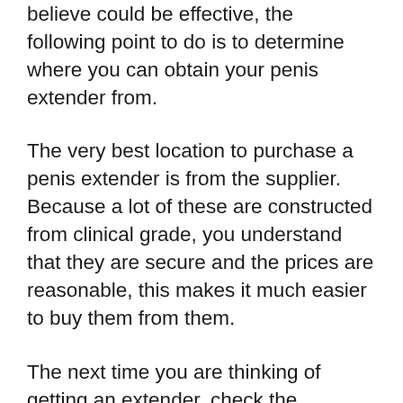believe could be effective, the following point to do is to determine where you can obtain your penis extender from.
The very best location to purchase a penis extender is from the supplier. Because a lot of these are constructed from clinical grade, you understand that they are secure and the prices are reasonable, this makes it much easier to buy them from them.
The next time you are thinking of getting an extender, check the dimension as well as functions of them first. You may also be surprised to discover that you can locate the one that fits flawlessly right into your spending plan.